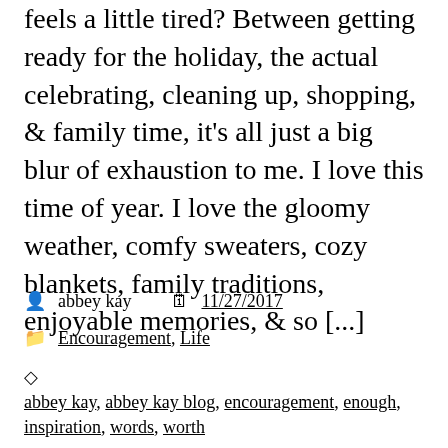feels a little tired? Between getting ready for the holiday, the actual celebrating, cleaning up, shopping, & family time, it's all just a big blur of exhaustion to me. I love this time of year. I love the gloomy weather, comfy sweaters, cozy blankets, family traditions, enjoyable memories, & so [...]
abbey kay  11/27/2017
Encouragement, Life
abbey kay, abbey kay blog, encouragement, enough, inspiration, words, worth